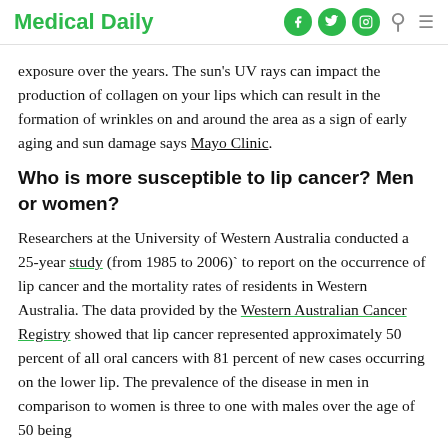Medical Daily
exposure over the years. The sun's UV rays can impact the production of collagen on your lips which can result in the formation of wrinkles on and around the area as a sign of early aging and sun damage says Mayo Clinic.
Who is more susceptible to lip cancer? Men or women?
Researchers at the University of Western Australia conducted a 25-year study (from 1985 to 2006)` to report on the occurrence of lip cancer and the mortality rates of residents in Western Australia. The data provided by the Western Australian Cancer Registry showed that lip cancer represented approximately 50 percent of all oral cancers with 81 percent of new cases occurring on the lower lip. The prevalence of the disease in men in comparison to women is three to one with males over the age of 50 being